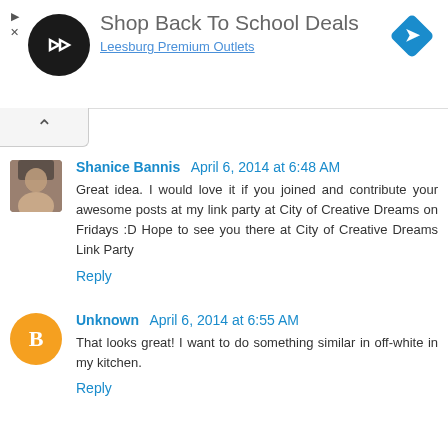[Figure (screenshot): Advertisement banner: black circular logo with double arrow icon, text 'Shop Back To School Deals', subtitle 'Leesburg Premium Outlets', blue diamond navigation icon top right]
Shanice Bannis April 6, 2014 at 6:48 AM
Great idea. I would love it if you joined and contribute your awesome posts at my link party at City of Creative Dreams on Fridays :D Hope to see you there at City of Creative Dreams Link Party
Reply
Unknown April 6, 2014 at 6:55 AM
That looks great! I want to do something similar in off-white in my kitchen.
Reply